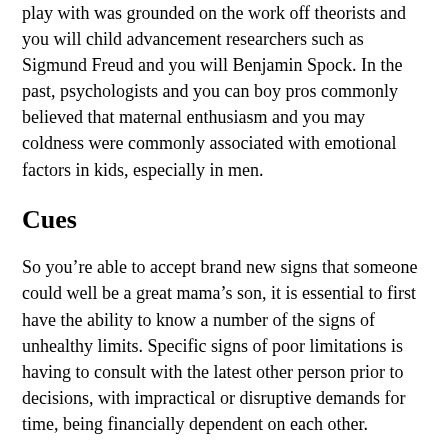play with was grounded on the work off theorists and you will child advancement researchers such as Sigmund Freud and you will Benjamin Spock. In the past, psychologists and you can boy pros commonly believed that maternal enthusiasm and you may coldness were commonly associated with emotional factors in kids, especially in men.
Cues
So you’re able to accept brand new signs that someone could well be a great mama’s son, it is essential to first have the ability to know a number of the signs of unhealthy limits. Specific signs of poor limitations is having to consult with the latest other person prior to decisions, with impractical or disruptive demands for time, being financially dependent on each other.
Such as pussysaga-datingsite behaviors usually are an indication of enmeshment. When enmeshment persists up, people will get always trust the mommy in order to satisfy the simple, monetary, mental, and you can societal means. Instances might become having his mother harmony their checkbook, brush his house, and provide money.
Experts advise that this type of interparental borders are very important besides having the newest relationship between children